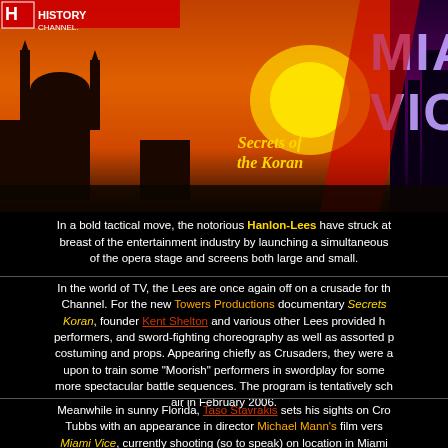[Figure (other): Header image showing History Channel logo with 'Secrets of the Koran' text on left (dark orange/sunset scene with mosque silhouette) and Miami Vice title text on right (urban night scene)]
In a bold tactical move, the notorious Hanlon-Lees have struck at the breast of the entertainment industry by launching a simultaneous ... of the opera stage and screens both large and small.
In the world of TV, the Lees are once again off on a crusade for the... Channel. For the new Towers Productions documentary Secrets of the Koran, founder Kent Shelton and various other Lees provided h... performers, and sword-fighting choreography as well as assorted ... costuming and props. Appearing chiefly as Crusaders, they were a... upon to train some "Moorish" performers in swordplay for some... more spectacular battle sequences. The program is tentatively sche... air in February 2006.
Meanwhile in sunny Florida, Taso Stavrakis sets his sights on Cro... Tubbs with an appearance in director Michael Mann's film vers... Miami Vice, currently shooting (so to speak) on location in Miami... Colin Farrell and Jamie Foxx, the film will likely open in the su... 2006. No official website exists as yet, but check back for upd...